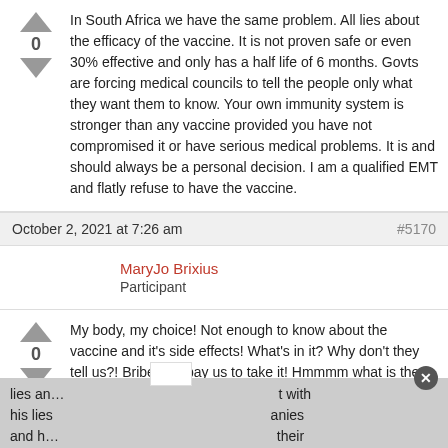In South Africa we have the same problem. All lies about the efficacy of the vaccine. It is not proven safe or even 30% effective and only has a half life of 6 months. Govts are forcing medical councils to tell the people only what they want them to know. Your own immunity system is stronger than any vaccine provided you have not compromised it or have serious medical problems. It is and should always be a personal decision. I am a qualified EMT and flatly refuse to have the vaccine.
October 2, 2021 at 7:26 am
#5170
MaryJo Brixius
Participant
My body, my choice! Not enough to know about the vaccine and it's side effects! What's in it? Why don't they tell us?! Bribery to pay us to take it! Hmmmm what is the government trying to accomplish?! Population control! And badass Biden, “I won’t mandate the vaccine?” And then he
lies an… t with his lies anies and h… their